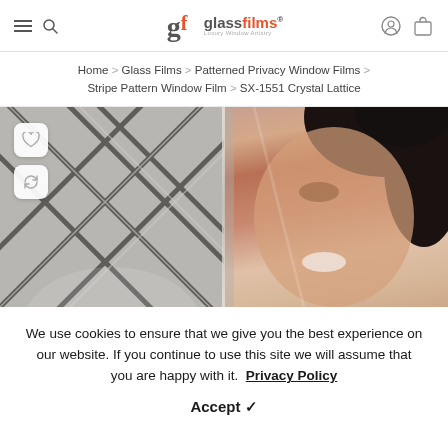glassfilms® — navigation header with menu, search, account, cart icons and logo
Home > Glass Films > Patterned Privacy Window Films > Stripe Pattern Window Film > SX-1551 Crystal Lattice
[Figure (photo): Product photo split view: left half shows a crystal lattice patterned window film with diagonal dark lines on a grey background; right half shows a woman's face smiling, partially obscured by the film. Two action buttons (heart/wishlist and refresh/compare) are overlaid on the left side.]
We use cookies to ensure that we give you the best experience on our website. If you continue to use this site we will assume that you are happy with it.  Privacy Policy
Accept ✓